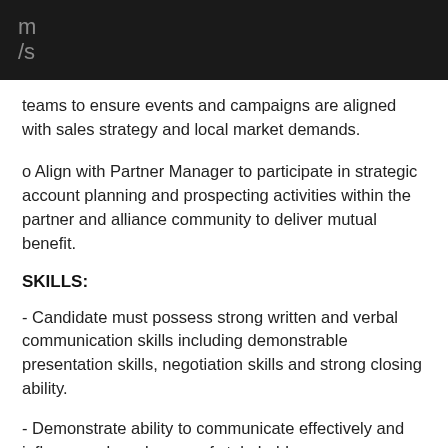m
/s
teams to ensure events and campaigns are aligned with sales strategy and local market demands.
o Align with Partner Manager to participate in strategic account planning and prospecting activities within the partner and alliance community to deliver mutual benefit.
SKILLS:
- Candidate must possess strong written and verbal communication skills including demonstrable presentation skills, negotiation skills and strong closing ability.
- Demonstrate ability to communicate effectively and influence a broad range of stakeholders